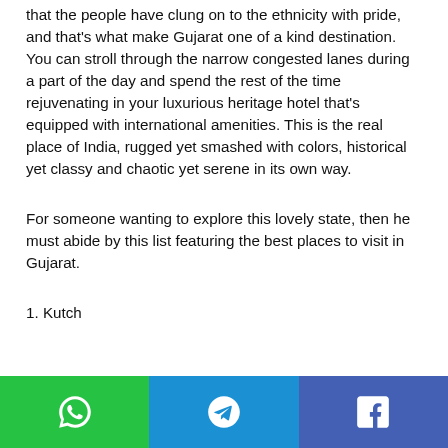that the people have clung on to the ethnicity with pride, and that's what make Gujarat one of a kind destination. You can stroll through the narrow congested lanes during a part of the day and spend the rest of the time rejuvenating in your luxurious heritage hotel that's equipped with international amenities. This is the real place of India, rugged yet smashed with colors, historical yet classy and chaotic yet serene in its own way.
For someone wanting to explore this lovely state, then he must abide by this list featuring the best places to visit in Gujarat.
1. Kutch
[Figure (infographic): Social share bar with three buttons: WhatsApp (green), Telegram (blue), Facebook (dark blue)]